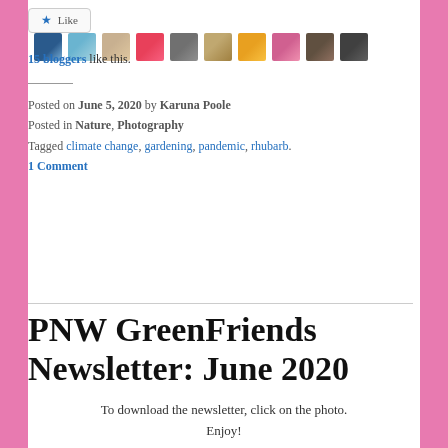[Figure (screenshot): Like button with star icon and row of blogger avatar thumbnails]
15 bloggers like this.
Posted on June 5, 2020 by Karuna Poole
Posted in Nature, Photography
Tagged climate change, gardening, pandemic, rhubarb.
1 Comment
PNW GreenFriends Newsletter: June 2020
To download the newsletter, click on the photo. Enjoy!